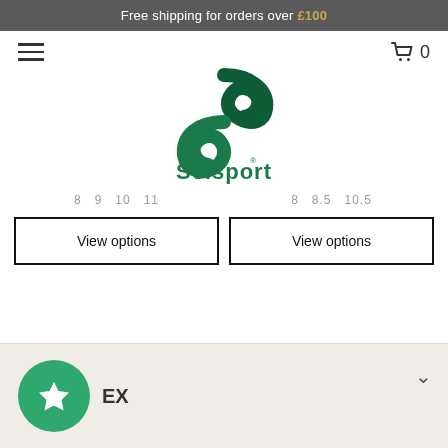Free shipping for orders over £100
[Figure (logo): Selsport logo with stylized S emblem in green]
8 9 10 11
8 8.5 10.5
View options
View options
EX